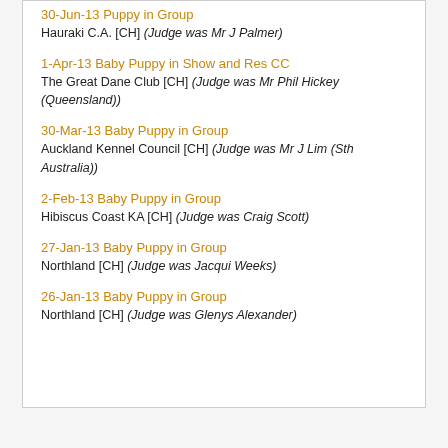30-Jun-13 Puppy in Group
Hauraki C.A. [CH] (Judge was Mr J Palmer)
1-Apr-13 Baby Puppy in Show and Res CC
The Great Dane Club [CH] (Judge was Mr Phil Hickey (Queensland))
30-Mar-13 Baby Puppy in Group
Auckland Kennel Council [CH] (Judge was Mr J Lim (Sth Australia))
2-Feb-13 Baby Puppy in Group
Hibiscus Coast KA [CH] (Judge was Craig Scott)
27-Jan-13 Baby Puppy in Group
Northland [CH] (Judge was Jacqui Weeks)
26-Jan-13 Baby Puppy in Group
Northland [CH] (Judge was Glenys Alexander)